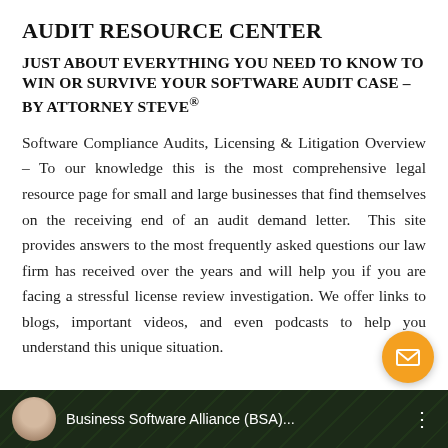AUDIT RESOURCE CENTER
JUST ABOUT EVERYTHING YOU NEED TO KNOW TO WIN OR SURVIVE YOUR SOFTWARE AUDIT CASE – BY ATTORNEY STEVE®
Software Compliance Audits, Licensing & Litigation Overview – To our knowledge this is the most comprehensive legal resource page for small and large businesses that find themselves on the receiving end of an audit demand letter. This site provides answers to the most frequently asked questions our law firm has received over the years and will help you if you are facing a stressful license review investigation. We offer links to blogs, important videos, and even podcasts to help you understand this unique situation.
[Figure (screenshot): Video thumbnail bar showing Business Software Alliance (BSA) with a speaker avatar on dark background]